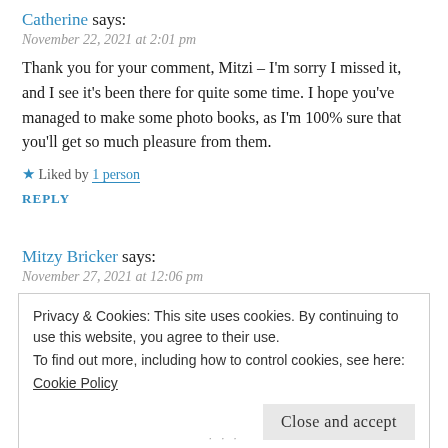Catherine says:
November 22, 2021 at 2:01 pm
Thank you for your comment, Mitzi – I'm sorry I missed it, and I see it's been there for quite some time. I hope you've managed to make some photo books, as I'm 100% sure that you'll get so much pleasure from them.
★ Liked by 1 person
REPLY
Mitzy Bricker says:
November 27, 2021 at 12:06 pm
Privacy & Cookies: This site uses cookies. By continuing to use this website, you agree to their use.
To find out more, including how to control cookies, see here:
Cookie Policy
Close and accept
…  …  …